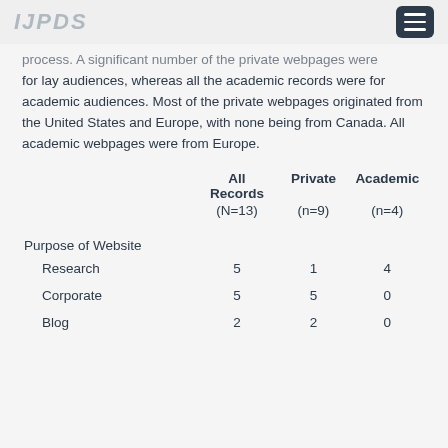IJPDS
process. A significant number of the private webpages were for lay audiences, whereas all the academic records were for academic audiences. Most of the private webpages originated from the United States and Europe, with none being from Canada. All academic webpages were from Europe.
|  | All Records
(N=13) | Private
(n=9) | Academic
(n=4) |
| --- | --- | --- | --- |
| Purpose of Website |  |  |  |
| Research | 5 | 1 | 4 |
| Corporate | 5 | 5 | 0 |
| Blog | 2 | 2 | 0 |